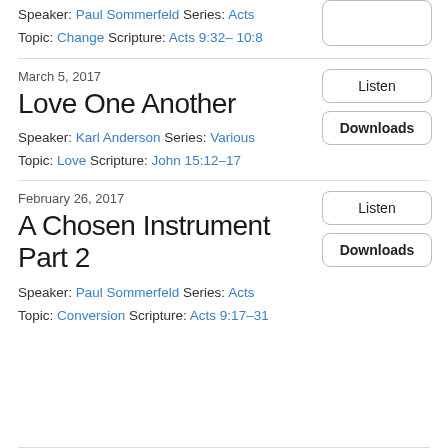Speaker: Paul Sommerfeld Series: Acts
Topic: Change Scripture: Acts 9:32– 10:8
March 5, 2017
Love One Another
Speaker: Karl Anderson Series: Various
Topic: Love Scripture: John 15:12–17
Listen
Downloads
February 26, 2017
A Chosen Instrument Part 2
Speaker: Paul Sommerfeld Series: Acts
Topic: Conversion Scripture: Acts 9:17–31
Listen
Downloads